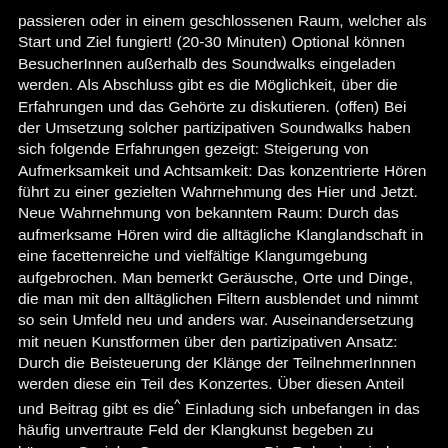passieren oder in einem geschlossenen Raum, welcher als Start und Ziel fungiert! (20-30 Minuten) Optional können BesucherInnen außerhalb des Soundwalks eingeladen werden. Als Abschluss gibt es die Möglichkeit, über die Erfahrungen und das Gehörte zu diskutieren. (offen) Bei der Umsetzung solcher partizipativen Soundwalks haben sich folgende Erfahrungen gezeigt: Steigerung von Aufmerksamkeit und Achtsamkeit: Das konzentrierte Hören führt zu einer gezielten Wahrnehmung des Hier und Jetzt. Neue Wahrnehmung von bekanntem Raum: Durch das aufmerksame Hören wird die alltägliche Klanglandschaft in eine facettenreiche und vielfältige Klangumgebung aufgebrochen. Man bemerkt Geräusche, Orte und Dinge, die man mit den alltäglichen Filtern ausblendet und nimmt so sein Umfeld neu und anders war. Auseinandersetzung mit neuen Kunstformen über den partizipativen Ansatz: Durch die Beisteuerung der Klänge der TeilnehmerInnnen werden diese ein Teil des Konzertes. Über diesen Anteil und Beitrag gibt es die Einladung sich unbefangen in das häufig unvertraute Feld der Klangkunst begeben zu können. Sozialer Gruppenumgang: Die Rekorder sind bewusst auf eine